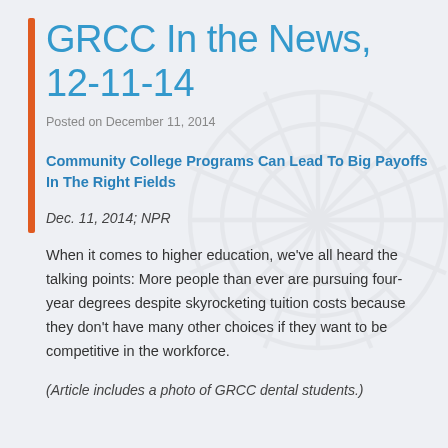GRCC In the News, 12-11-14
Posted on December 11, 2014
Community College Programs Can Lead To Big Payoffs In The Right Fields
Dec. 11, 2014; NPR
When it comes to higher education, we've all heard the talking points: More people than ever are pursuing four-year degrees despite skyrocketing tuition costs because they don't have many other choices if they want to be competitive in the workforce.
(Article includes a photo of GRCC dental students.)